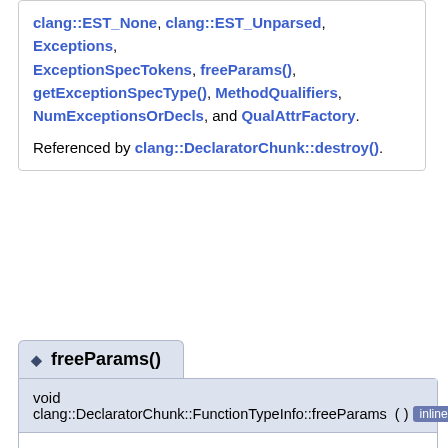clang::EST_None, clang::EST_Unparsed, Exceptions, ExceptionSpecTokens, freeParams(), getExceptionSpecType(), MethodQualifiers, NumExceptionsOrDecls, and QualAttrFactory.
Referenced by clang::DeclaratorChunk::destroy().
◆ freeParams()
void clang::DeclaratorChunk::FunctionTypeInfo::freeParams ( )  inline
Reset the parameter list to having zero parameters.
This is used in various places for error recovery.
Definition at line 1380 of file DeclSpec.h.
References DeleteParams, NumParams, and Params.
Referenced by clang::Sema::CheckConversionDeclarator().